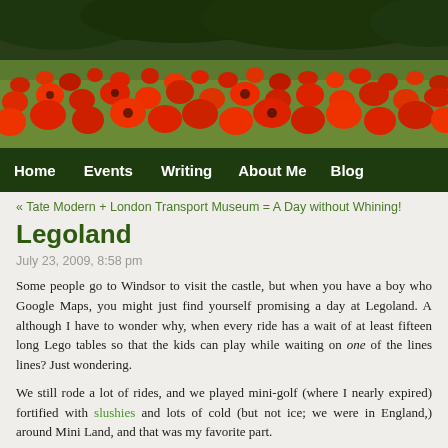[Figure (photo): A field of red poppy flowers with dark green foliage in the background, used as a decorative header image for a blog website.]
Home   Events   Writing   About Me   Blog
« Tate Modern + London Transport Museum = A Day without Whining!
Legoland
July 23, 2009, 8:58 pm
Some people go to Windsor to visit the castle, but when you have a boy who Google Maps, you might just find yourself promising a day at Legoland. A although I have to wonder why, when every ride has a wait of at least fiftee long Lego tables so that the kids can play while waiting on one of the lines lines? Just wondering.
We still rode a lot of rides, and we played mini-golf (where I nearly expire fortified with slushies and lots of cold (but not ice; we were in England, around Mini Land, and that was my favorite part.